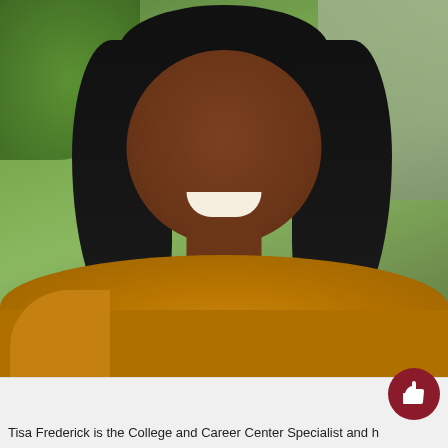[Figure (photo): Portrait photo of a smiling woman with curly black hair wearing a golden/mustard yellow sweater, photographed outdoors with green foliage and a railing visible in the background.]
Photo courtesy of Tisa Fre[derick]
Tisa Frederick is the College and Career Center Specialist and [rest cut off]